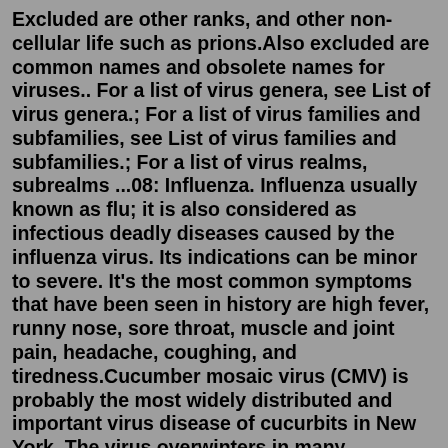Excluded are other ranks, and other non-cellular life such as prions.Also excluded are common names and obsolete names for viruses.. For a list of virus genera, see List of virus genera.; For a list of virus families and subfamilies, see List of virus families and subfamilies.; For a list of virus realms, subrealms ...08: Influenza. Influenza usually known as flu; it is also considered as infectious deadly diseases caused by the influenza virus. Its indications can be minor to severe. It's the most common symptoms that have been seen in history are high fever, runny nose, sore throat, muscle and joint pain, headache, coughing, and tiredness.Cucumber mosaic virus (CMV) is probably the most widely distributed and important virus disease of cucurbits in New York. The virus overwinters in many perennial weed sources especially attractive to aphids when weed growth resumes in the spring. Early infection of squash and melons is particularly common. Aphids are the main and most efficient ...The viruses causing human diseases include Varicella among the most frequently...